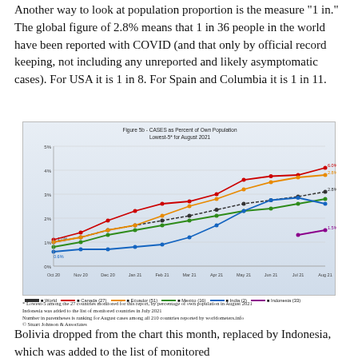Another way to look at population proportion is the measure "1 in." The global figure of 2.8% means that 1 in 36 people in the world have been reported with COVID (and that only by official record keeping, not including any unreported and likely asymptomatic cases). For USA it is 1 in 8. For Spain and Columbia it is 1 in 11.
[Figure (line-chart): Figure 5b - CASES as Percent of Own Population Lowest-5* for August 2021]
* Lowest-5 among the 27 countries monitored for this report, by percentage of own population in August 2021
Indonesia was added to the list of monitored countries in July 2021
Number in parentheses is ranking for August cases among all 210 countries reported by worldometers.info
© Stuart Johnson & Associates
Bolivia dropped from the chart this month, replaced by Indonesia, which was added to the list of monitored